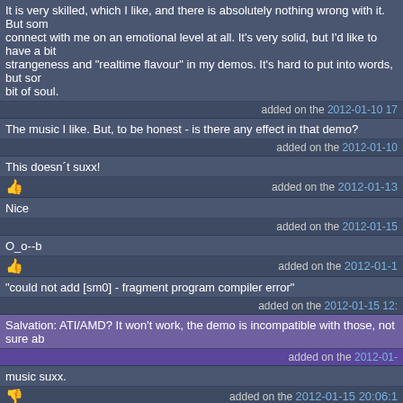It is very skilled, which I like, and there is absolutely nothing wrong with it. But some connect with me on an emotional level at all. It's very solid, but I'd like to have a bit strangeness and "realtime flavour" in my demos. It's hard to put into words, but som bit of soul.
added on the 2012-01-10 17
The music I like. But, to be honest - is there any effect in that demo?
added on the 2012-01-10
This doesn´t suxx!
👍 added on the 2012-01-13
Nice
added on the 2012-01-15
O_o--b
👍 added on the 2012-01-1
"could not add [sm0] - fragment program compiler error"
added on the 2012-01-15 12:
Salvation: ATI/AMD? It won't work, the demo is incompatible with those, not sure ab
added on the 2012-01-
music suxx.
👎 added on the 2012-01-15 20:06:1
Overall rulez.
I expected better music, more "epic", like in your previous demos.
👍 added on the 2012-01-1
that was pretty cool in my opinion - and thats coming from a guy who regularly sho when drunk (no disrespect, just drunken idiocy) :)